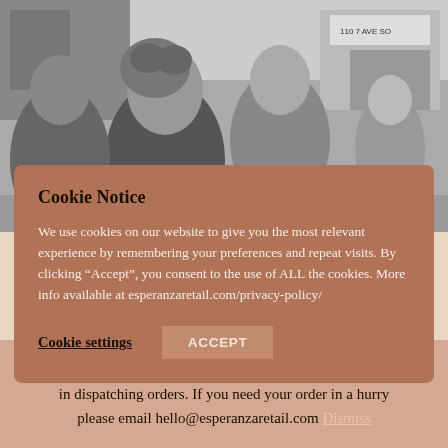[Figure (photo): Black and white street photograph showing a group of people on a busy urban street, with storefronts including a sign reading '110 7 AVE SO' visible in the background. A man with curly hair and a woman are prominent in the foreground.]
Cookie Notice
We use cookies on our website to give you the most relevant experience by remembering your preferences and repeat visits. By clicking “Accept”, you consent to the use of ALL the cookies. More info available at esperanzaretail.com/privacy-policy/
Cookie settings   ACCEPT
community is still subject to being abused
We are moving house! Apologies in advance for any delays in dispatching orders. If you need your order in a hurry please email hello@esperanzaretail.com Dismiss